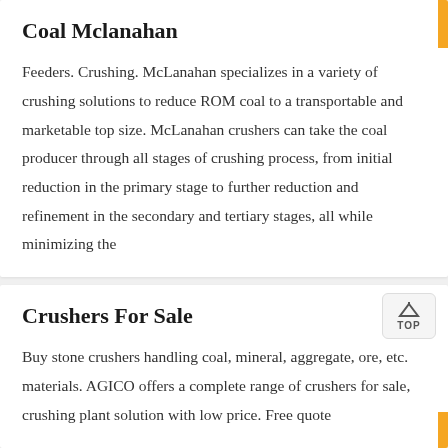Coal Mclanahan
Feeders. Crushing. McLanahan specializes in a variety of crushing solutions to reduce ROM coal to a transportable and marketable top size. McLanahan crushers can take the coal producer through all stages of crushing process, from initial reduction in the primary stage to further reduction and refinement in the secondary and tertiary stages, all while minimizing the
Crushers For Sale
Buy stone crushers handling coal, mineral, aggregate, ore, etc. materials. AGICO offers a complete range of crushers for sale, crushing plant solution with low price. Free quote
[Figure (infographic): Bottom call-to-action bar with agent photo, orange Message button and darker orange Online Chat button with headset icon]